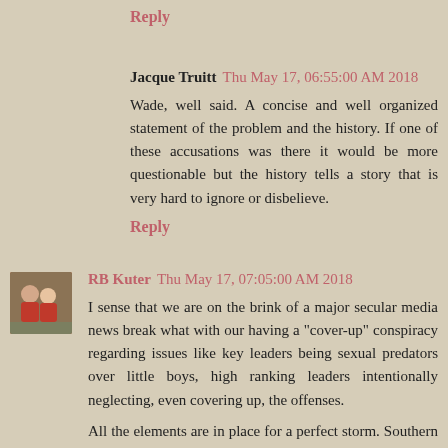Reply
Jacque Truitt  Thu May 17, 06:55:00 AM 2018
Wade, well said. A concise and well organized statement of the problem and the history. If one of these accusations was there it would be more questionable but the history tells a story that is very hard to ignore or disbelieve.
Reply
[Figure (photo): Small avatar photo of RB Kuter, two people wearing red shirts]
RB Kuter  Thu May 17, 07:05:00 AM 2018
I sense that we are on the brink of a major secular media news break what with our having a "cover-up" conspiracy regarding issues like key leaders being sexual predators over little boys, high ranking leaders intentionally neglecting, even covering up, the offenses.
All the elements are in place for a perfect storm. Southern Baptists are not exactly the "apple of the eye" of the secular world due to our tradition of proclaiming how